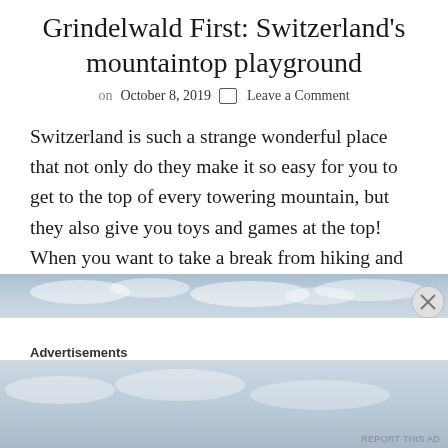Grindelwald First: Switzerland's mountaintop playground
on October 8, 2019  Leave a Comment
Switzerland is such a strange wonderful place that not only do they make it so easy for you to get to the top of every towering mountain, but they also give you toys and games at the top! When you want to take a break from hiking and just ride really fast down the side …
[Figure (photo): Advertisement banner with cloudy sky background and close button]
Advertisements